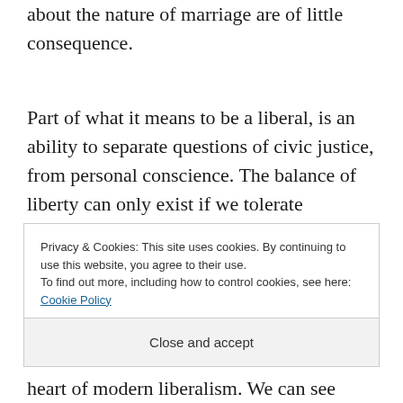about the nature of marriage are of little consequence.
Part of what it means to be a liberal, is an ability to separate questions of civic justice, from personal conscience. The balance of liberty can only exist if we tolerate opposing views on what constitutes the moral good, while we protect each person's right to determine the answers to such moral
Privacy & Cookies: This site uses cookies. By continuing to use this website, you agree to their use. To find out more, including how to control cookies, see here: Cookie Policy
Close and accept
heart of modern liberalism. We can see